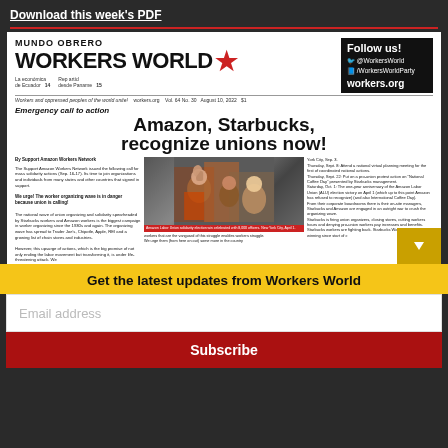Download this week's PDF
[Figure (screenshot): Workers World / Mundo Obrero newspaper front page featuring headline 'Emergency call to action — Amazon, Starbucks, recognize unions now!' with photo of Amazon Labor Union solidarity celebration, text columns about union organizing, and social media follow box]
Get the latest updates from Workers World
Email address
Subscribe